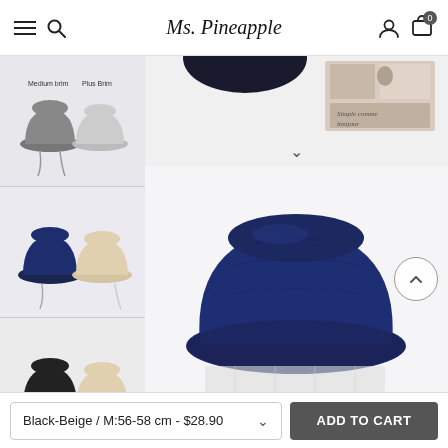Ms. Pineapple — navigation header with hamburger menu, search, account, and cart icons
[Figure (screenshot): E-commerce product page for a navy bucket hat on the Ms. Pineapple website. Left column shows thumbnail images of bucket hats in various colors (grey tones, navy/beige, black/beige, purple/beige). Main area shows a large product photo of a navy bucket hat. A scroll-up circular button is visible on the right side.]
Black-Beige / M:56-58 cm - $28.90
ADD TO CART